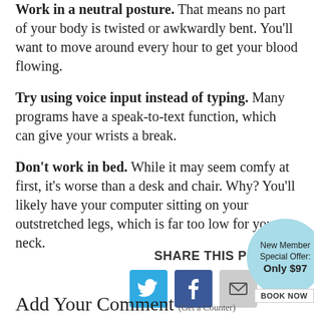Work in a neutral posture. That means no part of your body is twisted or awkwardly bent. You'll want to move around every hour to get your blood flowing.
Try using voice input instead of typing. Many programs have a speak-to-text function, which can give your wrists a break.
Don't work in bed. While it may seem comfy at first, it's worse than a desk and chair. Why? You'll likely have your computer sitting on your outstretched legs, which is far too low for your neck.
SHARE THIS P
[Figure (other): Social share icons: Twitter (blue bird), Facebook (blue f), Email (grey envelope)]
Add Your Comment (Get a Counter)